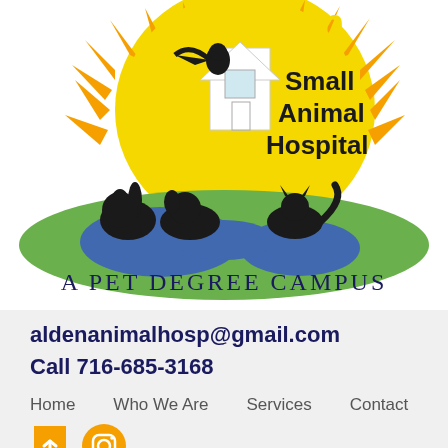[Figure (logo): Alden Small Animal Hospital logo with a sun background, silhouettes of animals (rabbit, bird, dog, cat), a house, and a globe. Text 'Alden Small Animal Hospital' and 'A PET DEGREE CAMPUS' below the logo graphic.]
aldenanimalhosp@gmail.com
Call 716-685-3168
Home    Who We Are    Services    Contact